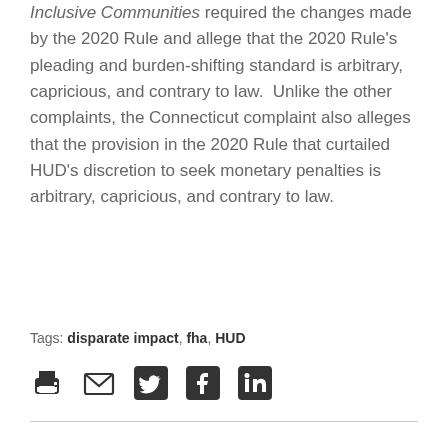Inclusive Communities required the changes made by the 2020 Rule and allege that the 2020 Rule's pleading and burden-shifting standard is arbitrary, capricious, and contrary to law. Unlike the other complaints, the Connecticut complaint also alleges that the provision in the 2020 Rule that curtailed HUD's discretion to seek monetary penalties is arbitrary, capricious, and contrary to law.
Tags: disparate impact, fha, HUD
[Figure (other): Social sharing icons: print, email, Twitter, Facebook, LinkedIn]